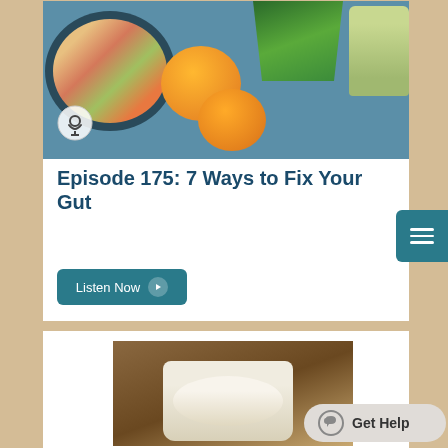[Figure (photo): Food bowl with Asian-style salad, oranges, green herbs, and a jar on a blue background, with a podcast microphone icon overlay]
Episode 175: 7 Ways to Fix Your Gut
Listen Now
[Figure (photo): Partial view of a jar with yogurt or fermented food on a wooden surface]